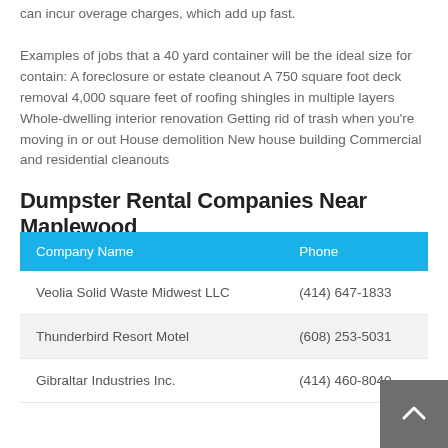can incur overage charges, which add up fast. Examples of jobs that a 40 yard container will be the ideal size for contain: A foreclosure or estate cleanout A 750 square foot deck removal 4,000 square feet of roofing shingles in multiple layers Whole-dwelling interior renovation Getting rid of trash when you're moving in or out House demolition New house building Commercial and residential cleanouts
Dumpster Rental Companies Near Maplewood
| Company Name | Phone |
| --- | --- |
| Veolia Solid Waste Midwest LLC | (414) 647-1833 |
| Thunderbird Resort Motel | (608) 253-5031 |
| Gibraltar Industries Inc. | (414) 460-8040 |